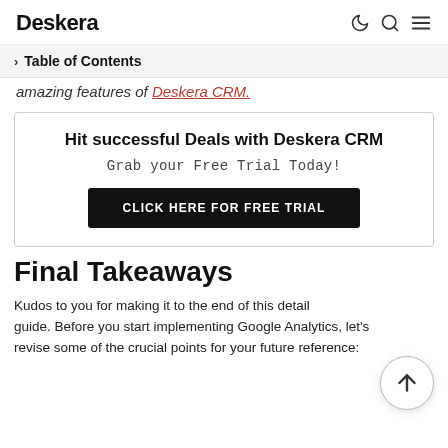Deskera
Table of Contents
amazing features of Deskera CRM.
Hit successful Deals with Deskera CRM
Grab your Free Trial Today!
CLICK HERE FOR FREE TRIAL
Final Takeaways
Kudos to you for making it to the end of this detail guide. Before you start implementing Google Analytics, let's revise some of the crucial points for your future reference: